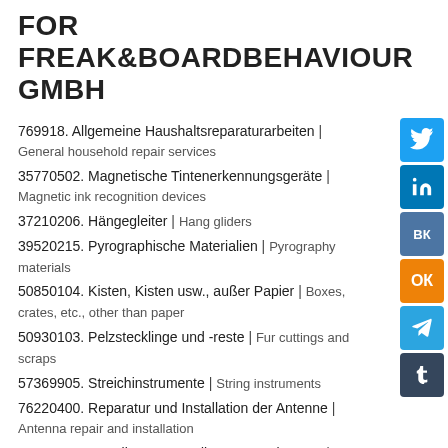FOR FREAK&BOARDBEHAVIOUR GMBH
769918. Allgemeine Haushaltsreparaturarbeiten | General household repair services
35770502. Magnetische Tintenerkennungsgeräte | Magnetic ink recognition devices
37210206. Hängegleiter | Hang gliders
39520215. Pyrographische Materialien | Pyrography materials
50850104. Kisten, Kisten usw., außer Papier | Boxes, crates, etc., other than paper
50930103. Pelzstecklinge und -reste | Fur cuttings and scraps
57369905. Streichinstrumente | String instruments
76220400. Reparatur und Installation der Antenne | Antenna repair and installation
79410200. Betreiber von Stadionveranstaltungen | Stadium event operator services
ARBEITE IN